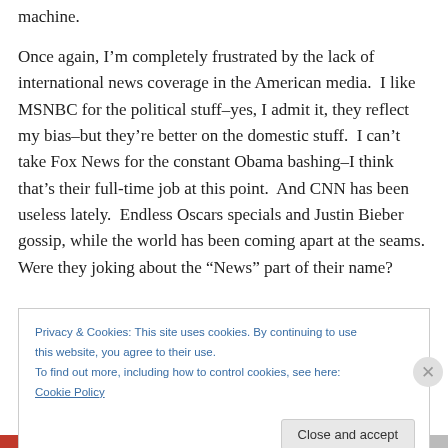machine.
Once again, I'm completely frustrated by the lack of international news coverage in the American media.  I like MSNBC for the political stuff–yes, I admit it, they reflect my bias–but they're better on the domestic stuff.  I can't take Fox News for the constant Obama bashing–I think that's their full-time job at this point.  And CNN has been useless lately.  Endless Oscars specials and Justin Bieber gossip, while the world has been coming apart at the seams.  Were they joking about the “News” part of their name?
Privacy & Cookies: This site uses cookies. By continuing to use this website, you agree to their use.
To find out more, including how to control cookies, see here: Cookie Policy